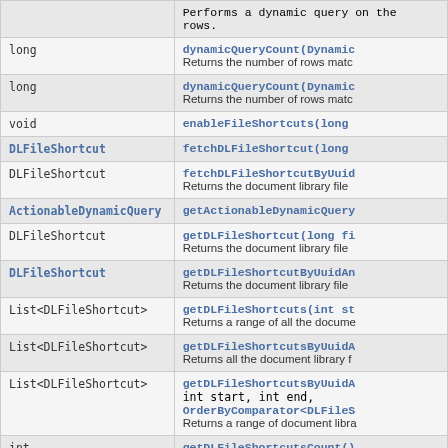| Type | Method |
| --- | --- |
|  | Performs a dynamic query on the rows. |
| long | dynamicQueryCount(Dynamic...
Returns the number of rows matc... |
| long | dynamicQueryCount(Dynamic...
Returns the number of rows matc... |
| void | enableFileShortcuts(long... |
| DLFileShortcut | fetchDLFileShortcut(long... |
| DLFileShortcut | fetchDLFileShortcutByUuid...
Returns the document library file... |
| ActionableDynamicQuery | getActionableDynamicQuery... |
| DLFileShortcut | getDLFileShortcut(long fi...
Returns the document library file... |
| DLFileShortcut | getDLFileShortcutByUuidAn...
Returns the document library file... |
| List<DLFileShortcut> | getDLFileShortcuts(int st...
Returns a range of all the docume... |
| List<DLFileShortcut> | getDLFileShortcutsByUuidA...
Returns all the document library f... |
| List<DLFileShortcut> | getDLFileShortcutsByUuidA...
int start, int end,
OrderByComparator<DLFileS...
Returns a range of document libra... |
| int | getDLFileShortcutsCount()... |